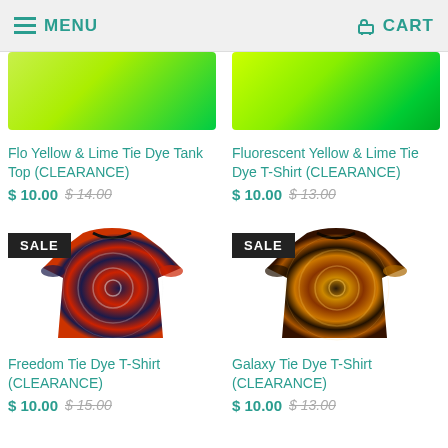MENU   CART
[Figure (photo): Flo Yellow & Lime Tie Dye Tank Top partially visible at top]
[Figure (photo): Fluorescent Yellow & Lime Tie Dye T-Shirt partially visible at top]
Flo Yellow & Lime Tie Dye Tank Top (CLEARANCE)
$ 10.00  $ 14.00
Fluorescent Yellow & Lime Tie Dye T-Shirt (CLEARANCE)
$ 10.00  $ 13.00
[Figure (photo): Freedom Tie Dye T-Shirt with SALE badge, navy and red spiral pattern]
[Figure (photo): Galaxy Tie Dye T-Shirt with SALE badge, dark galaxy spiral pattern]
Freedom Tie Dye T-Shirt (CLEARANCE)
$ 10.00  $ 15.00
Galaxy Tie Dye T-Shirt (CLEARANCE)
$ 10.00  $ 13.00